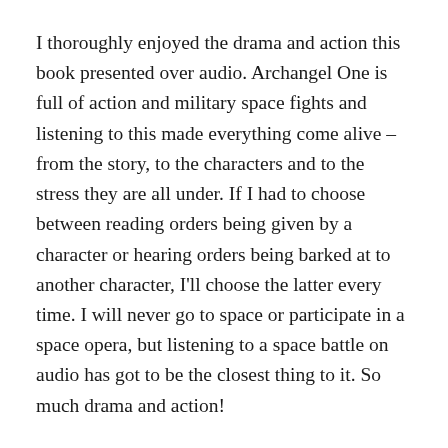I thoroughly enjoyed the drama and action this book presented over audio. Archangel One is full of action and military space fights and listening to this made everything come alive – from the story, to the characters and to the stress they are all under. If I had to choose between reading orders being given by a character or hearing orders being barked at to another character, I'll choose the latter every time. I will never go to space or participate in a space opera, but listening to a space battle on audio has got to be the closest thing to it. So much drama and action!
The story also has a wide range of characters in the book, providing the narrator a lot of opportunities to